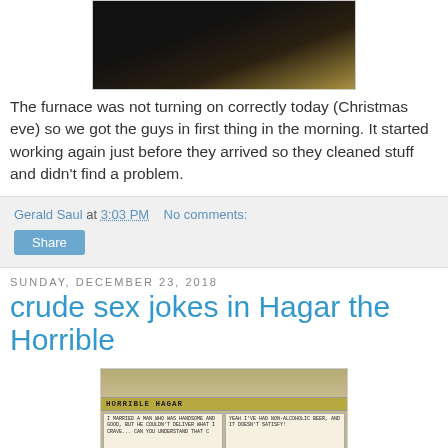[Figure (photo): Dark photo of people at an event, partially cropped at top]
The furnace was not turning on correctly today (Christmas eve) so we got the guys in first thing in the morning. It started working again just before they arrived so they cleaned stuff and didn't find a problem.
Gerald Saul at 3:03 PM    No comments:
Share
Sunday, December 23, 2018
crude sex jokes in Hagar the Horrible
[Figure (photo): Photo of a Horrible Hagar comic strip newspaper clipping]